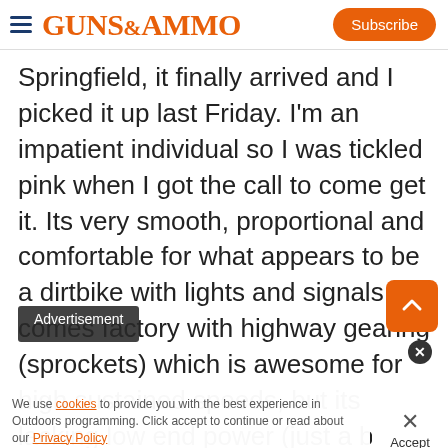GUNS&AMMO | Subscribe
Springfield, it finally arrived and I picked it up last Friday. I'm an impatient individual so I was tickled pink when I got the call to come get it. Its very smooth, proportional and comfortable for what appears to be a dirtbike with lights and signals. It comes factory with highway gearing (sprockets) which is awesome for high sustained speeds, but its lacking low end power (just a bit) for my size and its only a 250cc. Its taller than hell with a seat height that
Advertisement
We use cookies to provide you with the best experience in Outdoors programming. Click accept to continue or read about our Privacy Policy